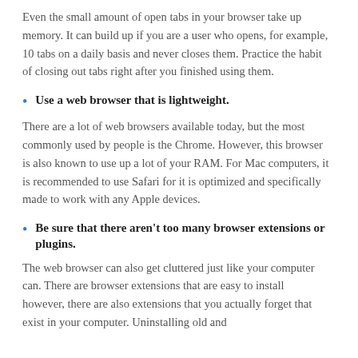Even the small amount of open tabs in your browser take up memory. It can build up if you are a user who opens, for example, 10 tabs on a daily basis and never closes them. Practice the habit of closing out tabs right after you finished using them.
Use a web browser that is lightweight.
There are a lot of web browsers available today, but the most commonly used by people is the Chrome. However, this browser is also known to use up a lot of your RAM. For Mac computers, it is recommended to use Safari for it is optimized and specifically made to work with any Apple devices.
Be sure that there aren't too many browser extensions or plugins.
The web browser can also get cluttered just like your computer can. There are browser extensions that are easy to install however, there are also extensions that you actually forget that exist in your computer. Uninstalling old and